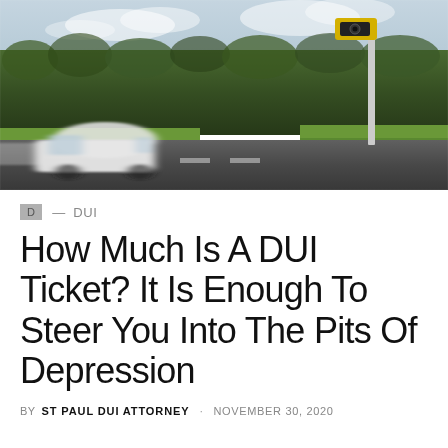[Figure (photo): A white car in motion blur passing a speed camera on a rural road with green hedgerows in the background and overcast sky]
D — DUI
How Much Is A DUI Ticket? It Is Enough To Steer You Into The Pits Of Depression
BY ST PAUL DUI ATTORNEY · NOVEMBER 30, 2020